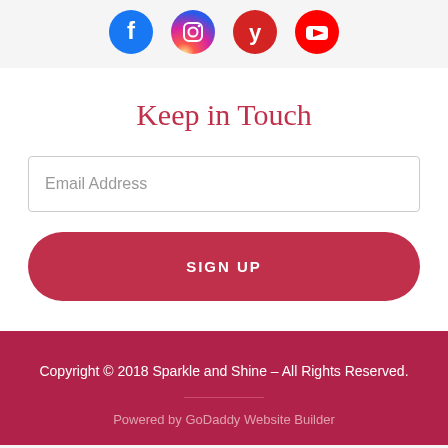[Figure (illustration): Four social media icons in a row: Facebook (blue), Instagram (pink/magenta gradient), Yelp (red), YouTube (red), all circular]
Keep in Touch
Email Address
SIGN UP
Copyright © 2018 Sparkle and Shine – All Rights Reserved.
Powered by GoDaddy Website Builder